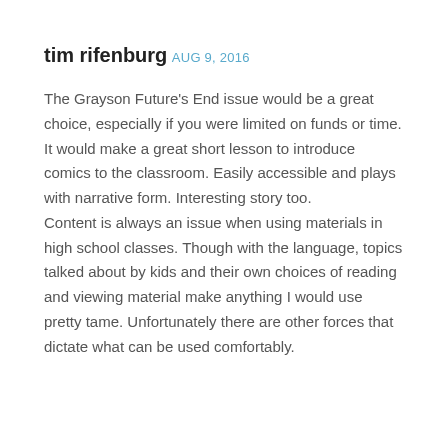tim rifenburg
AUG 9, 2016
The Grayson Future's End issue would be a great choice, especially if you were limited on funds or time. It would make a great short lesson to introduce comics to the classroom. Easily accessible and plays with narrative form. Interesting story too.
Content is always an issue when using materials in high school classes. Though with the language, topics talked about by kids and their own choices of reading and viewing material make anything I would use pretty tame. Unfortunately there are other forces that dictate what can be used comfortably.